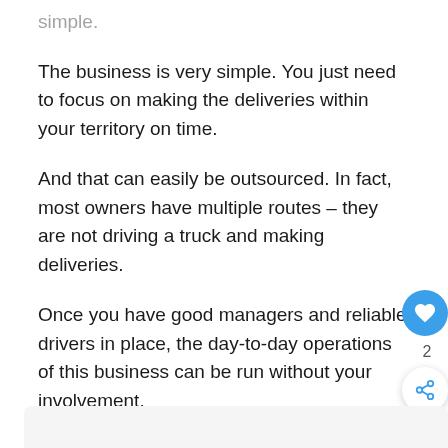…simple.
The business is very simple. You just need to focus on making the deliveries within your territory on time.
And that can easily be outsourced. In fact, most owners have multiple routes – they are not driving a truck and making deliveries.
Once you have good managers and reliable drivers in place, the day-to-day operations of this business can be run without your involvement.